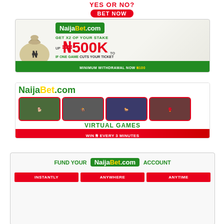[Figure (infographic): YES OR NO? text in red with BET NOW red button below]
[Figure (infographic): NaijaBet.com ad: GET X2 OF YOUR STAKE UP TO N500K IF ONE GAME CUTS YOUR TICKET. MINIMUM WITHDRAWAL NOW N100. Green and white with money bag graphic.]
[Figure (infographic): NaijaBet.com VIRTUAL GAMES ad: WIN N EVERY 3 MINUTES. Shows hexagonal sport images. @NaijaBet social. ...Since 2010]
[Figure (infographic): FUND YOUR NaijaBet.com ACCOUNT ad with three red buttons: INSTANTLY, ANYWHERE, ANYTIME]